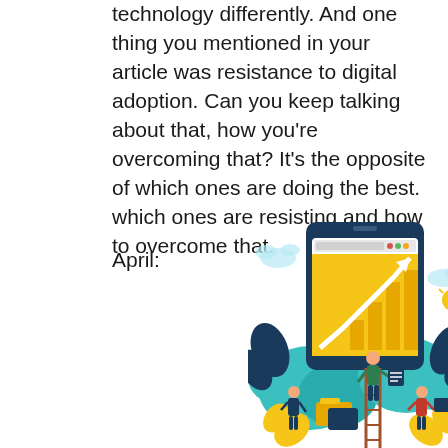technology differently. And one thing you mentioned in your article was resistance to digital adoption. Can you keep talking about that, how you're overcoming that? It's the opposite of which ones are doing the best. which ones are resisting and how to overcome that.
April:
[Figure (illustration): Digital business illustration showing a large tablet/smartphone with a bar chart and rising arrow on screen, surrounded by people on ladders, plants, file folders, clouds, and a lightbulb icon.]